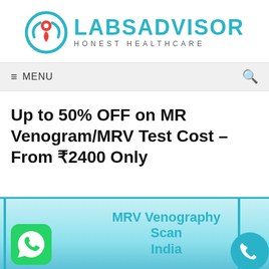[Figure (logo): LabsAdvisor logo with teal circular icon containing a red map pin and hands, with text LABSADVISOR and tagline HONEST HEALTHCARE]
≡ MENU   🔍
Up to 50% OFF on MR Venogram/MRV Test Cost – From ₹2400 Only
[Figure (infographic): MRV Venography Scan India banner with teal background, WhatsApp icon on left and phone icon on right]